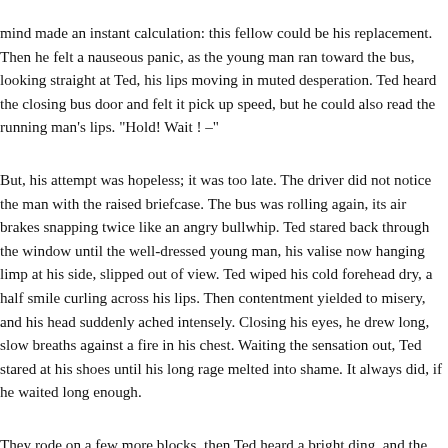mind made an instant calculation: this fellow could be his replacement. Then he felt a nauseous panic, as the young man ran toward the bus, looking straight at Ted, his lips moving in muted desperation. Ted heard the closing bus door and felt it pick up speed, but he could also read the running man’s lips. “Hold! Wait ! –”
But, his attempt was hopeless; it was too late. The driver did not notice the man with the raised briefcase. The bus was rolling again, its air brakes snapping twice like an angry bullwhip. Ted stared back through the window until the well-dressed young man, his valise now hanging limp at his side, slipped out of view. Ted wiped his cold forehead dry, a half smile curling across his lips. Then contentment yielded to misery, and his head suddenly ached intensely. Closing his eyes, he drew long, slow breaths against a fire in his chest. Waiting the sensation out, Ted stared at his shoes until his long rage melted into shame. It always did, if he waited long enough.
They rode on a few more blocks, then Ted heard a bright ding, and the bus came to a squealing halt. The woman he got on with was up and headed toward the exit when he realized it was his stop as well. He followed, losing sight of all but her hat, until he caught up at the foot of the broad concrete steps of the Courthouse. He kept his eyes and she did not look back, so he needn’t have bothered.